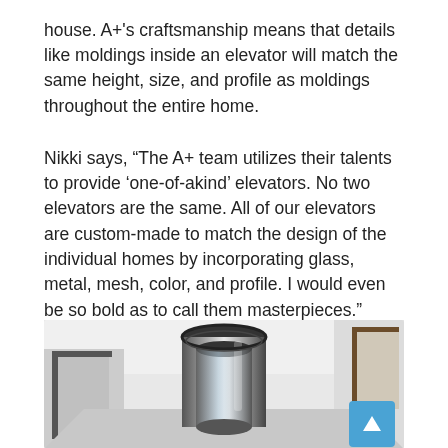house. A+'s craftsmanship means that details like moldings inside an elevator will match the same height, size, and profile as moldings throughout the entire home.
Nikki says, “The A+ team utilizes their talents to provide ‘one-of-akind’ elevators. No two elevators are the same. All of our elevators are custom-made to match the design of the individual homes by incorporating glass, metal, mesh, color, and profile. I would even be so bold as to call them masterpieces.”
[Figure (photo): Interior photo showing a modern home hallway with a cylindrical glass/chrome elevator cab visible from above, white walls, doors visible in background.]